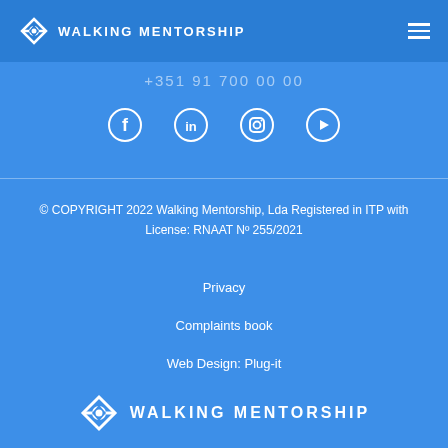WALKING MENTORSHIP
+351 91 700 00 00
[Figure (illustration): Social media icons: Facebook, LinkedIn, Instagram, YouTube — white icons on blue background]
© COPYRIGHT 2022 Walking Mentorship, Lda Registered in ITP with License: RNAAT Nº 255/2021
Privacy
Complaints book
Web Design: Plug-it
[Figure (logo): Walking Mentorship logo — diamond/eye icon with text WALKING MENTORSHIP in white on blue background]